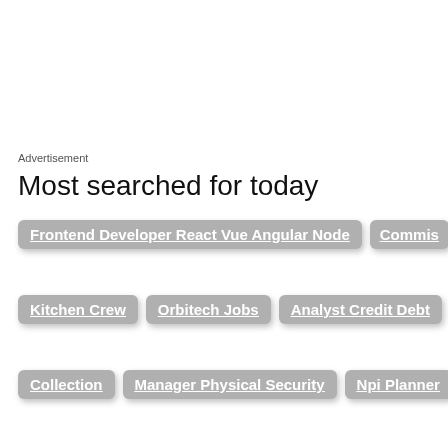Advertisement
Most searched for today
Frontend Developer React Vue Angular Node
Commis
Kitchen Crew
Orbitech Jobs
Analyst Credit Debt
Collection
Manager Physical Security
Npi Planner